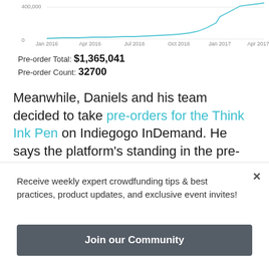[Figure (line-chart): Line chart showing cumulative pre-order growth from Jan 2016 to Apr 2017, rising steeply toward 400,000]
Pre-order Total: $1,365,041
Pre-order Count: 32700
Meanwhile, Daniels and his team decided to take pre-orders for the Think Ink Pen on Indiegogo InDemand. He says the platform's standing in the pre-order market and its exposure to news sites made it a no-brainer. He took the opportunity to supplement his marquee product, the Think Ink
Receive weekly expert crowdfunding tips & best practices, product updates, and exclusive event invites!
Join our Community